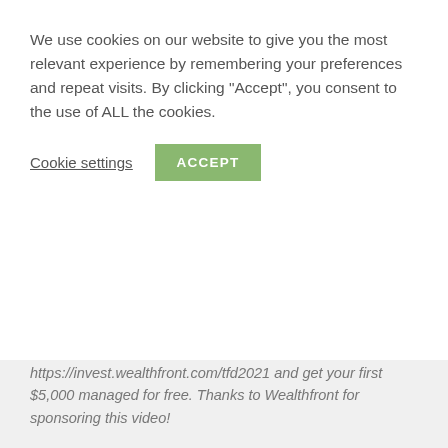We use cookies on our website to give you the most relevant experience by remembering your preferences and repeat visits. By clicking "Accept", you consent to the use of ALL the cookies.
Cookie settings   ACCEPT
https://invest.wealthfront.com/tfd2021 and get your first $5,000 managed for free. Thanks to Wealthfront for sponsoring this video!
In this video, Chelsea dives into the world of Real Housewives of Salt Lake City to talk about Jen Shah and the historical precedence of pyramid scheme-ing among those who preach or practice the "prosperity gospel."
The Financial Diet receives cash compensation from Wealthfront Advisers LLC ("Wealthfront Advisers") for sponsored advertising materials. The Financial Diet client and this is a paid testimonial. The Financial Diet and Wealthfront Advisors are not associated with one